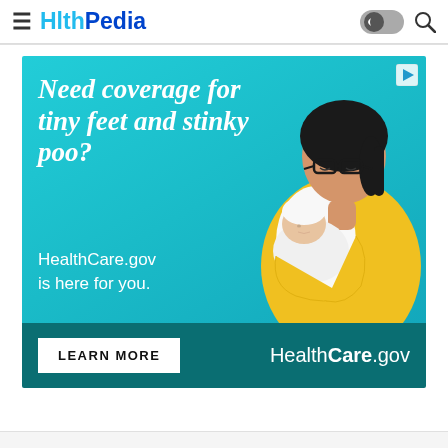HlthPedia
[Figure (infographic): HealthCare.gov advertisement banner. Teal background with bold italic white text reading 'Need coverage for tiny feet and stinky poo?' and 'HealthCare.gov is here for you.' A woman wearing glasses holds a sleeping newborn baby dressed in yellow. Dark teal footer bar with 'LEARN MORE' button and 'HealthCare.gov' logo in white.]